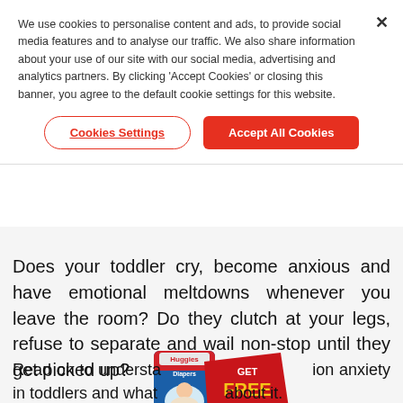We use cookies to personalise content and ads, to provide social media features and to analyse our traffic. We also share information about your use of our site with our social media, advertising and analytics partners. By clicking ‘Accept Cookies’ or closing this banner, you agree to the default cookie settings for this website.
Cookies Settings
Accept All Cookies
Does your toddler cry, become anxious and have emotional meltdowns whenever you leave the room? Do they clutch at your legs, refuse to separate and wail non-stop until they get picked up?
[Figure (illustration): Huggies Diapers package with a 'GET FREE SAMPLE' red badge overlay]
Read on to understand separation anxiety in toddlers and what you can do about it.